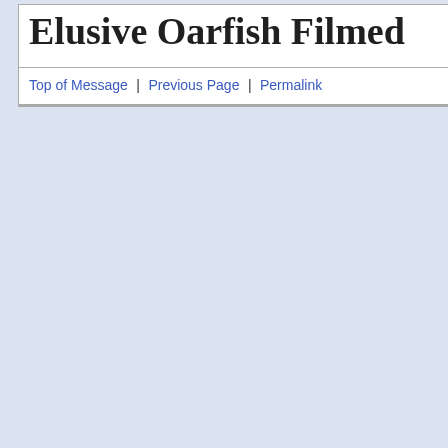Elusive Oarfish Filmed
Top of Message | Previous Page | Permalink